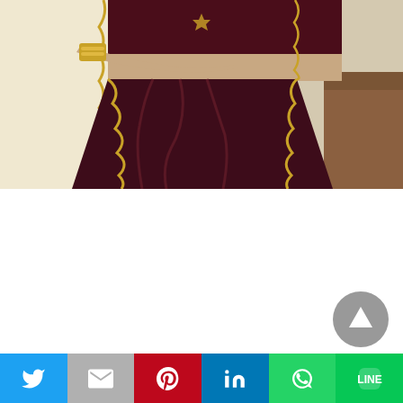[Figure (photo): Close-up photo of a person wearing a dark maroon/burgundy traditional Indian saree with gold embroidery trim and a matching blouse. A hand with a gold cuff bracelet is visible resting on the waist. Cream/beige colored fabric with gold scalloped border is visible on the left side.]
[Figure (other): Scroll-to-top button — grey circular button with white upward-pointing triangle/arrow, positioned in lower right area of white space]